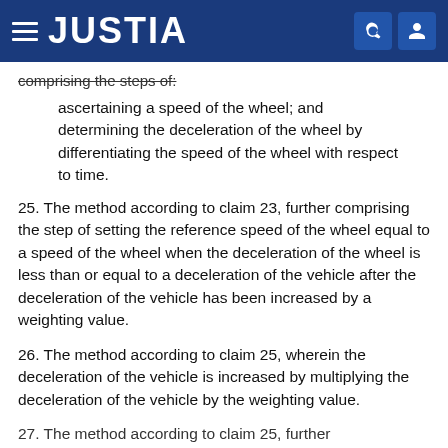JUSTIA
comprising the steps of:
ascertaining a speed of the wheel; and determining the deceleration of the wheel by differentiating the speed of the wheel with respect to time.
25. The method according to claim 23, further comprising the step of setting the reference speed of the wheel equal to a speed of the wheel when the deceleration of the wheel is less than or equal to a deceleration of the vehicle after the deceleration of the vehicle has been increased by a weighting value.
26. The method according to claim 25, wherein the deceleration of the vehicle is increased by multiplying the deceleration of the vehicle by the weighting value.
27. The method according to claim 25, further